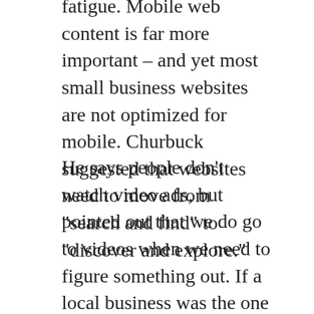fatigue. Mobile web content is far more important – and yet most small business websites are not optimized for mobile. Churbuck suggested that websites need to move from “search and find” to “discover and explore.”
He says people don’t watch video ads, but pointed out that we do go to videos when we need to figure something out. If a local business was the one narrating the video, you'd likely go give them your business and fix what you're trying to fix. There's